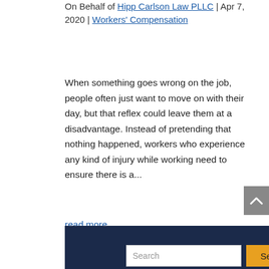On Behalf of Hipp Carlson Law PLLC | Apr 7, 2020 | Workers' Compensation
When something goes wrong on the job, people often just want to move on with their day, but that reflex could leave them at a disadvantage. Instead of pretending that nothing happened, workers who experience any kind of injury while working need to ensure there is a...
read more
« Older Entries